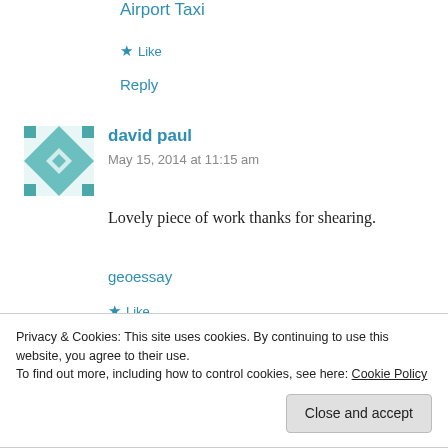Airport Taxi
★ Like
Reply
[Figure (illustration): Geometric quilt pattern avatar in teal/green and white, square shape]
david paul
May 15, 2014 at 11:15 am
Lovely piece of work thanks for shearing.
geoessay
★ Like
Privacy & Cookies: This site uses cookies. By continuing to use this website, you agree to their use.
To find out more, including how to control cookies, see here: Cookie Policy
Close and accept